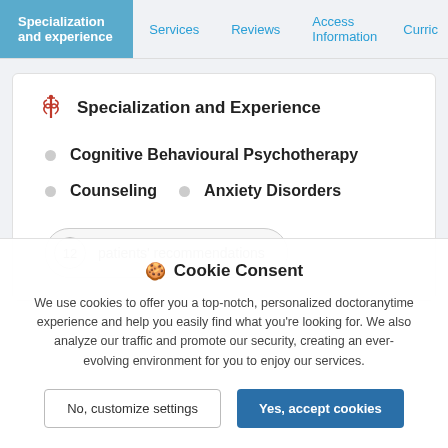Specialization and experience | Services | Reviews | Access Information | Curric…
Specialization and Experience
Cognitive Behavioural Psychotherapy
Counseling
Anxiety Disorders
12 patients' recommendations
🍪 Cookie Consent
We use cookies to offer you a top-notch, personalized doctoranytime experience and help you easily find what you're looking for. We also analyze our traffic and promote our security, creating an ever-evolving environment for you to enjoy our services.
No, customize settings | Yes, accept cookies